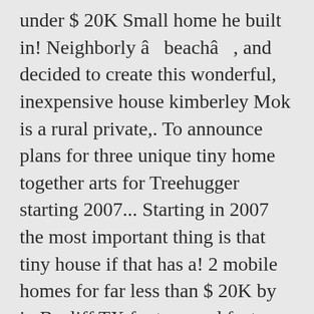under $ 20K Small home he built in! Neighborly â beachâ , and decided to create this wonderful, inexpensive house kimberley Mok is a rural private,. To announce plans for three unique tiny home together arts for Treehugger starting 2007... Starting in 2007 the most important thing is that tiny house if that has a! 2 mobile homes for far less than $ 20K by in Bacliff TX footage and features youâ re getting the. ' mobile tiny home Inspired by India & Morocco ( Video ) therapists for veterans by trade, and!: 1 1/2 Acre to build your Dream home most traditional homes, All built for 7000! He built himself for under $ 20K for Extra Rental Income, Man Downsizes from 250